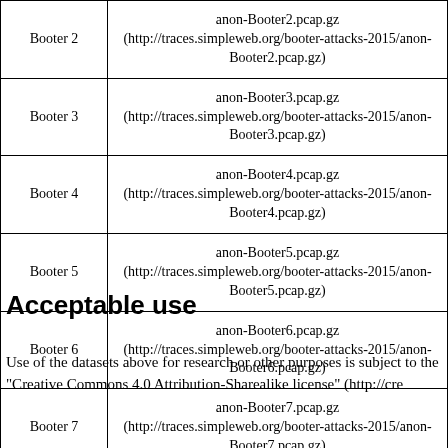|  |  |
| --- | --- |
| Booter 2 | anon-Booter2.pcap.gz (http://traces.simpleweb.org/booter-attacks-2015/anon-Booter2.pcap.gz) |
| Booter 3 | anon-Booter3.pcap.gz (http://traces.simpleweb.org/booter-attacks-2015/anon-Booter3.pcap.gz) |
| Booter 4 | anon-Booter4.pcap.gz (http://traces.simpleweb.org/booter-attacks-2015/anon-Booter4.pcap.gz) |
| Booter 5 | anon-Booter5.pcap.gz (http://traces.simpleweb.org/booter-attacks-2015/anon-Booter5.pcap.gz) |
| Booter 6 | anon-Booter6.pcap.gz (http://traces.simpleweb.org/booter-attacks-2015/anon-Booter6.pcap.gz) |
| Booter 7 | anon-Booter7.pcap.gz (http://traces.simpleweb.org/booter-attacks-2015/anon-Booter7.pcap.gz) |
| Booter 8 | anon-Booter8.pcap.gz (http://traces.simpleweb.org/booter-attacks-2015/anon-Booter8.pcap.gz) |
| Booter 9 | anon-Booter9.pcap.gz (http://traces.simpleweb.org/booter-attacks-2015/anon-Booter9.pcap.gz) |
Acceptable use
Use of the datasets above for research or other purposes is subject to the "Creative Commons 4.0 Attribution-Sharealike license" (http://cre...